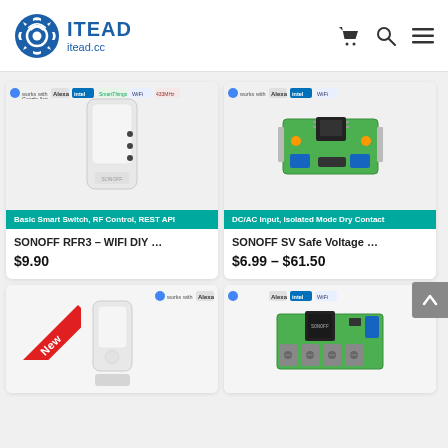[Figure (logo): ITEAD logo with gear icon and text 'ITEAD itead.cc']
[Figure (photo): SONOFF RFR3 white smart switch device product photo with compatibility badge strip showing Google Assistant, Alexa, SmartThings, WiFi, 433MHz]
Basic Smart Switch, RF Control, REST API
SONOFF RFR3 – WIFI DIY …
$9.90
[Figure (photo): SONOFF SV Safe Voltage green PCB module product photo with badge strip showing Google Assistant, Alexa, WiFi]
DC/AC Input, Isolated Mode Dry Contact
SONOFF SV Safe Voltage …
$6.99 – $61.50
[Figure (photo): New product white smart switch device with New badge in red triangle corner, badge strip showing Google Assistant, Alexa]
[Figure (photo): Green PCB relay module product photo with badge strip showing Google Assistant, Alexa, WiFi]